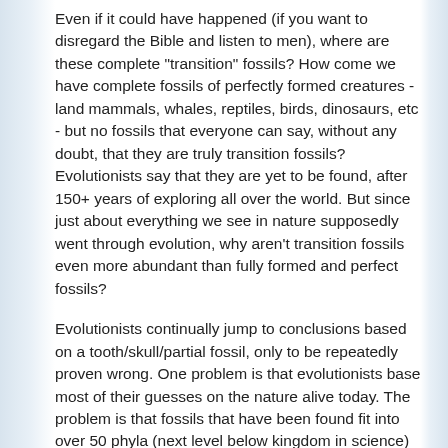Even if it could have happened (if you want to disregard the Bible and listen to men), where are these complete "transition" fossils? How come we have complete fossils of perfectly formed creatures - land mammals, whales, reptiles, birds, dinosaurs, etc - but no fossils that everyone can say, without any doubt, that they are truly transition fossils? Evolutionists say that they are yet to be found, after 150+ years of exploring all over the world. But since just about everything we see in nature supposedly went through evolution, why aren't transition fossils even more abundant than fully formed and perfect fossils?
Evolutionists continually jump to conclusions based on a tooth/skull/partial fossil, only to be repeatedly proven wrong. One problem is that evolutionists base most of their guesses on the nature alive today. The problem is that fossils that have been found fit into over 50 phyla (next level below kingdom in science) but we have only 38 currently living on Earth. So we don't know all the species that have existed in the past to be able to correctly identify them. That is one of the mistakes evolutionists constantly make. They keep trying to fit fossils to modern nature to prove their theory right,